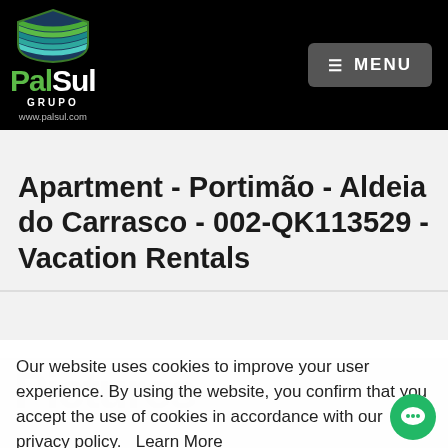[Figure (logo): PalSul Grupo logo with layered shield icon in blue/green, green text 'PalSul' and white text, 'GRUPO' subtitle, www.palsul.com URL]
Apartment - Portimão - Aldeia do Carrasco - 002-QK113529 - Vacation Rentals
Our website uses cookies to improve your user experience. By using the website, you confirm that you accept the use of cookies in accordance with our privacy policy.   Learn More
I Agree!